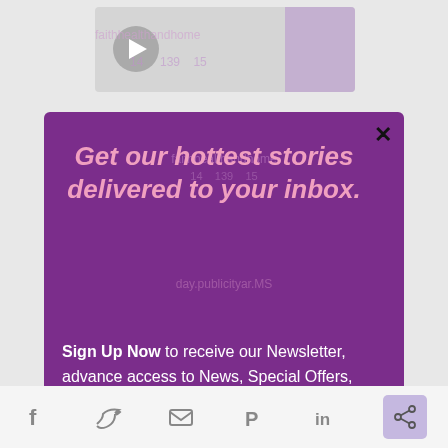[Figure (screenshot): Video thumbnail with play button and image thumbnail at top of page]
Get our hottest stories delivered to your inbox.
Sign Up Now to receive our Newsletter, advance access to News, Special Offers, exclusive Experiences and more
[Figure (screenshot): Email input field with placeholder 'Enter your email']
[Figure (screenshot): Submit button in pink/mauve color]
We'll assume you're ok with this, but you can opt-out if
[Figure (screenshot): Social sharing bar at bottom with Facebook, Twitter, email, Pinterest, LinkedIn, and share icons]